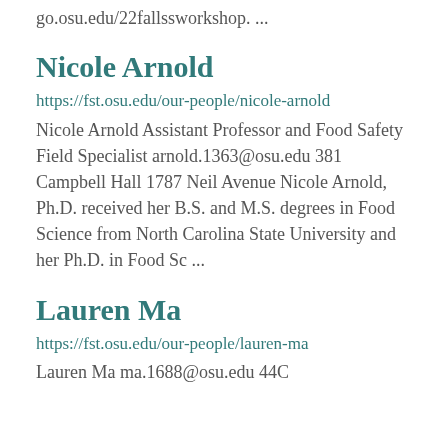go.osu.edu/22fallssworkshop. ...
Nicole Arnold
https://fst.osu.edu/our-people/nicole-arnold
Nicole Arnold Assistant Professor and Food Safety Field Specialist arnold.1363@osu.edu 381 Campbell Hall 1787 Neil Avenue Nicole Arnold, Ph.D. received her B.S. and M.S. degrees in Food Science from North Carolina State University and her Ph.D. in Food Sc ...
Lauren Ma
https://fst.osu.edu/our-people/lauren-ma
Lauren Ma ma.1688@osu.edu 44C